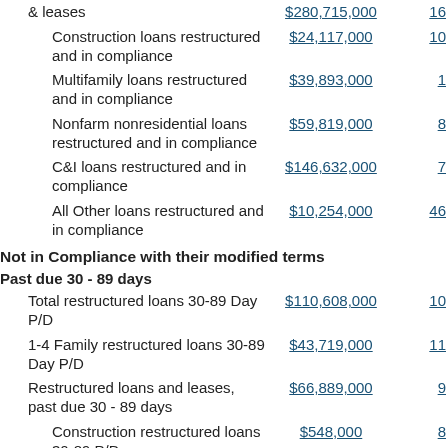| Description | Amount | Count |
| --- | --- | --- |
| & leases | $280,715,000 | 16 |
| Construction loans restructured and in compliance | $24,117,000 | 10 |
| Multifamily loans restructured and in compliance | $39,893,000 | 1 |
| Nonfarm nonresidential loans restructured and in compliance | $59,819,000 | 8 |
| C&I loans restructured and in compliance | $146,632,000 | 7 |
| All Other loans restructured and in compliance | $10,254,000 | 46 |
| Not in Compliance with their modified terms |  |  |
| Past due 30 - 89 days |  |  |
| Total restructured loans 30-89 Day P/D | $110,608,000 | 10 |
| 1-4 Family restructured loans 30-89 Day P/D | $43,719,000 | 11 |
| Restructured loans and leases, past due 30 - 89 days | $66,889,000 | 9 |
| Construction restructured loans 30-89 P/D | $548,000 | 8 |
| Multifamily restructured loans | $29,319,000 | 1 |